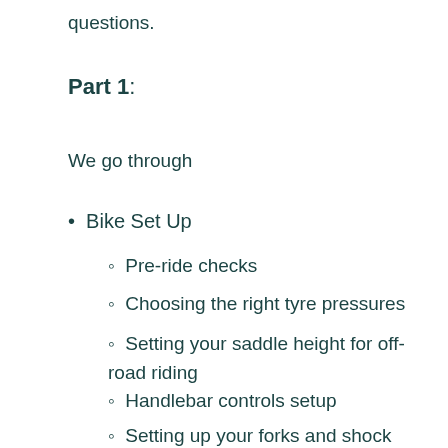questions.
Part 1:
We go through
Bike Set Up
Pre-ride checks
Choosing the right tyre pressures
Setting your saddle height for off-road riding
Handlebar controls setup
Setting up your forks and shock